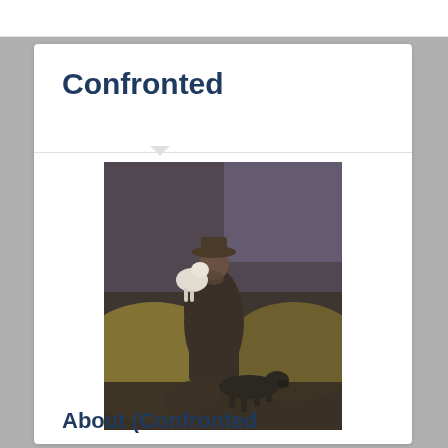Confronted
[Figure (illustration): A painting of a man in a long dark coat and hat, holding a white lamb, with a dark dog walking beside him on a path through golden grass fields under a stormy sky.]
About [Confronted]